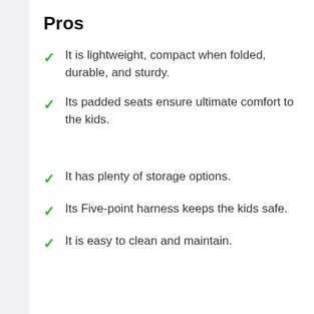Pros
It is lightweight, compact when folded, durable, and sturdy.
Its padded seats ensure ultimate comfort to the kids.
It has plenty of storage options.
Its Five-point harness keeps the kids safe.
It is easy to clean and maintain.